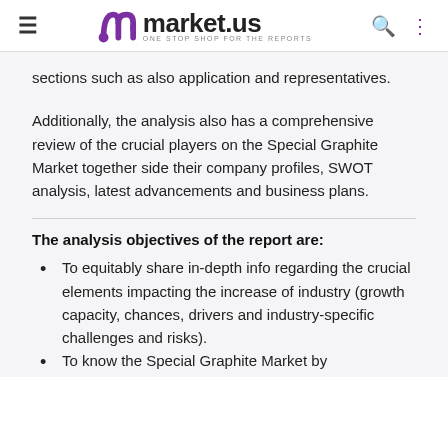market.us ONE STOP SHOP FOR THE REPORTS
sections such as also application and representatives.
Additionally, the analysis also has a comprehensive review of the crucial players on the Special Graphite Market together side their company profiles, SWOT analysis, latest advancements and business plans.
The analysis objectives of the report are:
To equitably share in-depth info regarding the crucial elements impacting the increase of industry (growth capacity, chances, drivers and industry-specific challenges and risks).
To know the Special Graphite Market by